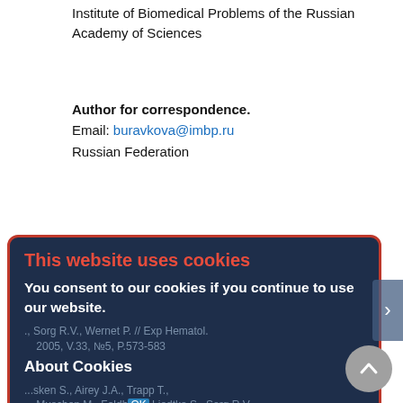Institute of Biomedical Problems of the Russian Academy of Sciences
Author for correspondence.
Email: buravkova@imbp.ru
Russian Federation
[Figure (screenshot): Cookie consent modal dialog with dark navy background and orange/red border. Title 'This website uses cookies' in red. Body text 'You consent to our cookies if you continue to use our website.' in white bold. 'About Cookies' section heading. Blue OK button centered.]
Sorg R.V., Wernet P. // Exp Hematol. 2005, V.33, №5, P.573-583
Sensken S., Airey J.A., Trapp T., Muschen M., Feldhahnm Liedtke S., Sorg R.V., Fischer J., Rosenbaum C. // J Exp Med. 2004, V.200, №2, P.123-135
3. Kögler G., Sensken S., Wernet P. // Exp Hematol. 2006, V.34, №11, P.1589-1595
4. Sensken S., Waclawczyk S., Knaupp A.S., Trapp